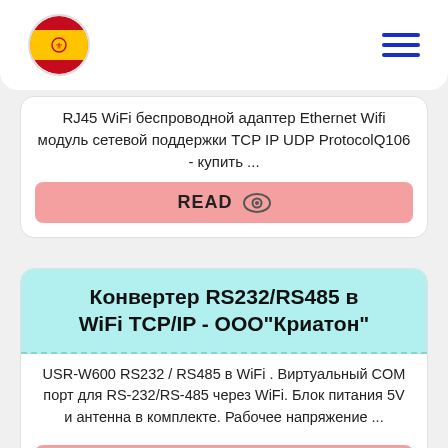[Spain flag logo] [Hamburger menu]
RJ45 WiFi беспроводной адаптер Ethernet Wifi модуль сетевой поддержки TCP IP UDP ProtocolQ106 - купить ...
READ
Конвертер RS232/RS485 в WiFi TCP/IP - ООО"Криатон"
USR-W600 RS232 / RS485 в WiFi . Виртуальный COM порт для RS-232/RS-485 через WiFi. Блок питания 5V и антенна в комплекте. Рабочее напряжение ...
READ